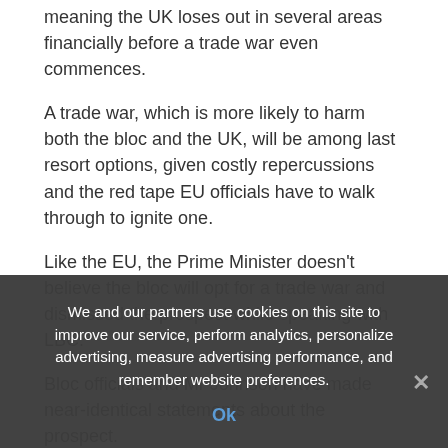meaning the UK loses out in several areas financially before a trade war even commences.
A trade war, which is more likely to harm both the bloc and the UK, will be among last resort options, given costly repercussions and the red tape EU officials have to walk through to ignite one.
Like the EU, the Prime Minister doesn't believe the bloc will opt for a trade war and dismissed the prospect while speaking with LBC.
Bloc officials and Mr Johnson have made near-identical statements about the prospect.
Mr Johnson said he didn't believe the bloc would pursue a
We and our partners use cookies on this site to improve our service, perform analytics, personalize advertising, measure advertising performance, and remember website preferences.
Ok